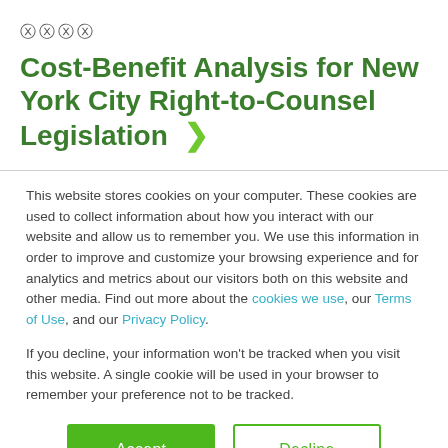[Figure (other): Four circled X close icons in a row]
Cost-Benefit Analysis for New York City Right-to-Counsel Legislation ›
This website stores cookies on your computer. These cookies are used to collect information about how you interact with our website and allow us to remember you. We use this information in order to improve and customize your browsing experience and for analytics and metrics about our visitors both on this website and other media. Find out more about the cookies we use, our Terms of Use, and our Privacy Policy.
If you decline, your information won't be tracked when you visit this website. A single cookie will be used in your browser to remember your preference not to be tracked.
Accept   Decline